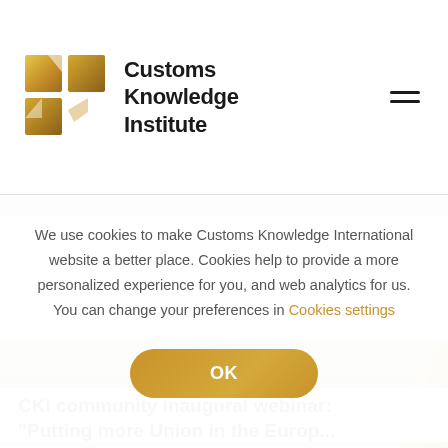[Figure (logo): Customs Knowledge Institute logo with gold geometric puzzle-piece mark and bold text]
We use cookies to make Customs Knowledge International website a better place. Cookies help to provide a more personalized experience for you, and web analytics for us. You can change your preferences in Cookies settings
OK
COMMUNITY@CUSTOMSKNOWLEDGEINSTITUTE.ORG
CKI community inaugural webinar:
"Putting more Union in the Europ...